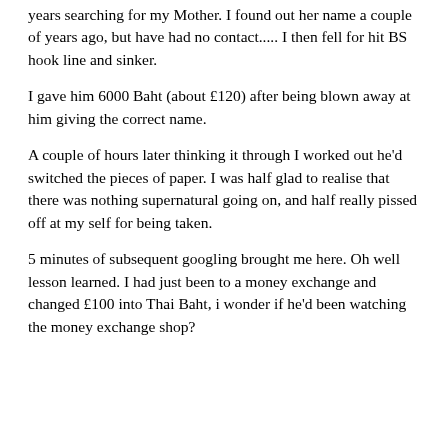years searching for my Mother. I found out her name a couple of years ago, but have had no contact..... I then fell for hit BS hook line and sinker.
I gave him 6000 Baht (about £120) after being blown away at him giving the correct name.
A couple of hours later thinking it through I worked out he'd switched the pieces of paper. I was half glad to realise that there was nothing supernatural going on, and half really pissed off at my self for being taken.
5 minutes of subsequent googling brought me here. Oh well lesson learned. I had just been to a money exchange and changed £100 into Thai Baht, i wonder if he'd been watching the money exchange shop?